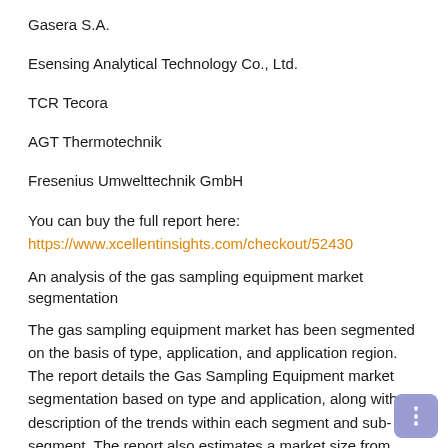Gasera S.A.
Esensing Analytical Technology Co., Ltd.
TCR Tecora
AGT Thermotechnik
Fresenius Umwelttechnik GmbH
You can buy the full report here:
https://www.xcellentinsights.com/checkout/52430
An analysis of the gas sampling equipment market segmentation
The gas sampling equipment market has been segmented on the basis of type, application, and application region. The report details the Gas Sampling Equipment market segmentation based on type and application, along with a description of the trends within each segment and sub-segment. The report also estimates a market size from 2022 to 2028 for major regions, along with a market forecast